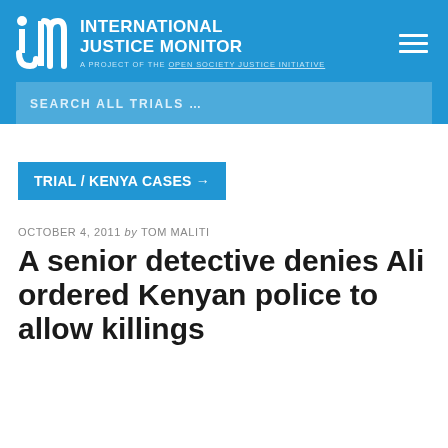INTERNATIONAL JUSTICE MONITOR — A PROJECT OF THE OPEN SOCIETY JUSTICE INITIATIVE
SEARCH ALL TRIALS …
TRIAL / KENYA CASES →
OCTOBER 4, 2011 by TOM MALITI
A senior detective denies Ali ordered Kenyan police to allow killings